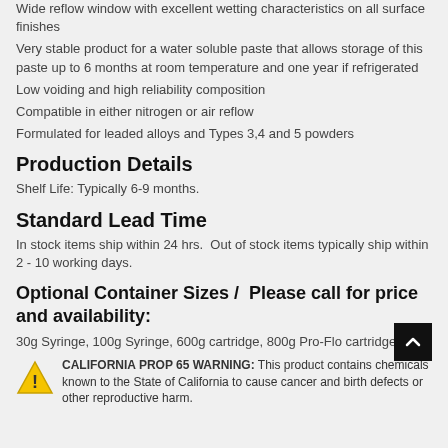Wide reflow window with excellent wetting characteristics on all surface finishes
Very stable product for a water soluble paste that allows storage of this paste up to 6 months at room temperature and one year if refrigerated
Low voiding and high reliability composition
Compatible in either nitrogen or air reflow
Formulated for leaded alloys and Types 3,4 and 5 powders
Production Details
Shelf Life: Typically 6-9 months.
Standard Lead Time
In stock items ship within 24 hrs.  Out of stock items typically ship within 2 - 10 working days.
Optional Container Sizes /  Please call for price and availability:
30g Syringe, 100g Syringe, 600g cartridge, 800g Pro-Flo cartridge
CALIFORNIA PROP 65 WARNING: This product contains chemicals known to the State of California to cause cancer and birth defects or other reproductive harm.